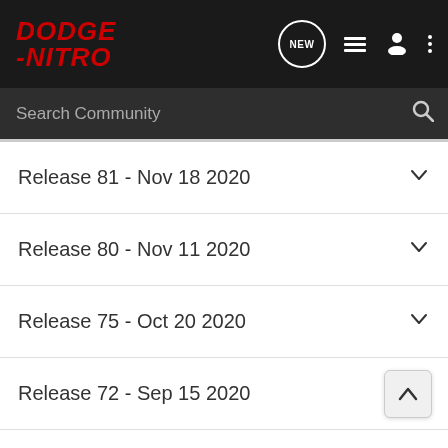DODGE-NITRO community header with search bar
Release 81 - Nov 18 2020
Release 80 - Nov 11 2020
Release 75 - Oct 20 2020
Release 72 - Sep 15 2020
Release 65 - July 28 2020
Release 62 - July 07 2020